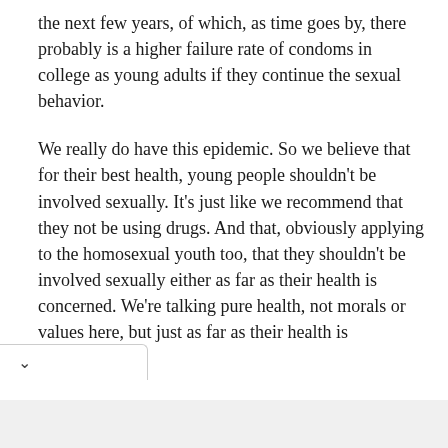the next few years, of which, as time goes by, there probably is a higher failure rate of condoms in college as young adults if they continue the sexual behavior.
We really do have this epidemic. So we believe that for their best health, young people shouldn't be involved sexually. It's just like we recommend that they not be using drugs. And that, obviously applying to the homosexual youth too, that they shouldn't be involved sexually either as far as their health is concerned. We're talking pure health, not morals or values here, but just as far as their health is concerned.